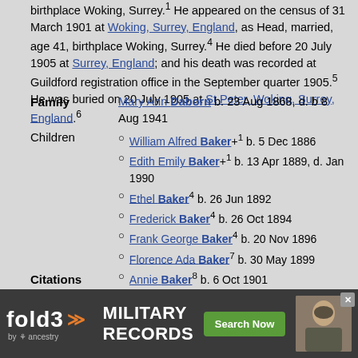birthplace Woking, Surrey.¹ He appeared on the census of 31 March 1901 at Woking, Surrey, England, as Head, married, age 41, birthplace Woking, Surrey.⁴ He died before 20 July 1905 at Surrey, England; and his death was recorded at Guildford registration office in the September quarter 1905.⁵ He was buried on 20 July 1905 at St Peter, Woking, Surrey, England.⁶
Family   Mary Ann Daborn b. 23 Aug 1868, d. b 8 Aug 1941
Children
William Alfred Baker+¹ b. 5 Dec 1886
Edith Emily Baker+¹ b. 13 Apr 1889, d. Jan 1990
Ethel Baker⁴ b. 26 Jun 1892
Frederick Baker⁴ b. 26 Oct 1894
Frank George Baker⁴ b. 20 Nov 1896
Florence Ada Baker⁷ b. 30 May 1899
Annie Baker⁸ b. 6 Oct 1901
Ernest Arthur Baker⁹ b. 22 Jan
[Figure (infographic): Fold3 by Ancestry advertisement banner for Military Records with Search Now button and soldier photo]
Citations